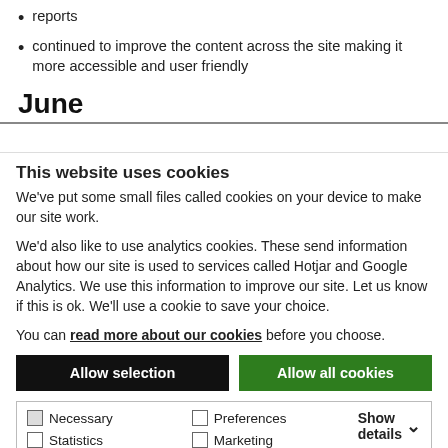reports
continued to improve the content across the site making it more accessible and user friendly
June
This website uses cookies
We've put some small files called cookies on your device to make our site work.
We'd also like to use analytics cookies. These send information about how our site is used to services called Hotjar and Google Analytics. We use this information to improve our site. Let us know if this is ok. We'll use a cookie to save your choice.
You can read more about our cookies before you choose.
Allow selection | Allow all cookies
Necessary | Preferences | Statistics | Marketing | Show details